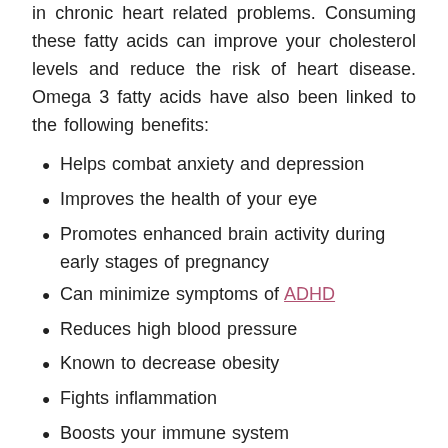in chronic heart related problems. Consuming these fatty acids can improve your cholesterol levels and reduce the risk of heart disease. Omega 3 fatty acids have also been linked to the following benefits:
Helps combat anxiety and depression
Improves the health of your eye
Promotes enhanced brain activity during early stages of pregnancy
Can minimize symptoms of ADHD
Reduces high blood pressure
Known to decrease obesity
Fights inflammation
Boosts your immune system
Improves mental health
Alleviates menstrual pain
Healthy bone and joint development
Reduces the fat in your liver
Can reduce Asthma in children